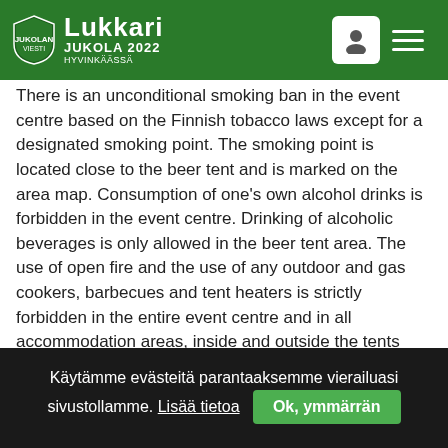Lukkari Jukola 2022 Hyvinkäässä
There is an unconditional smoking ban in the event centre based on the Finnish tobacco laws except for a designated smoking point. The smoking point is located close to the beer tent and is marked on the area map.
Consumption of one's own alcohol drinks is forbidden in the event centre. Drinking of alcoholic beverages is only allowed in the beer tent area.
The use of open fire and the use of any outdoor and gas cookers, barbecues and tent heaters is strictly forbidden in the entire event centre and in all accommodation areas, inside and outside the tents and in parking areas. Fire ban will be
Käytämme evästeitä parantaaksemme vierailuasi sivustollamme. Lisää tietoa  Ok, ymmärrän